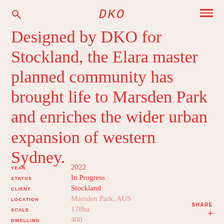DKO
Designed by DKO for Stockland, the Elara master planned community has brought life to Marsden Park and enriches the wider urban expansion of western Sydney.
| Label | Value |
| --- | --- |
| YEAR | 2022 |
| STATUS | In Progress |
| CLIENT | Stockland |
| LOCATION | Marsden Park, AUS |
| SCALE | 178ha |
| DWELLING | 400 |